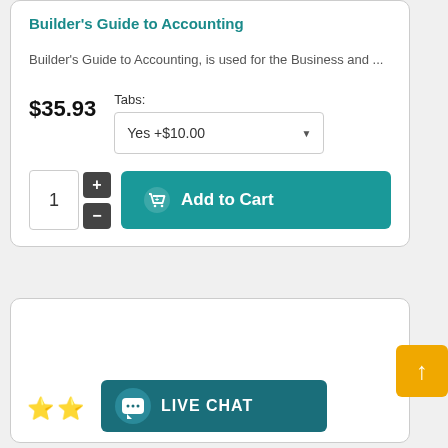Builder's Guide to Accounting
Builder's Guide to Accounting, is used for the Business and ...
$35.93
Tabs: Yes +$10.00
[Figure (screenshot): Add to Cart button with quantity selector showing 1, plus and minus buttons, and teal Add to Cart button with shopping cart icon]
[Figure (screenshot): Bottom product card with star ratings and Live Chat banner in teal]
[Figure (other): Scroll to top button, orange/yellow square with upward arrow]